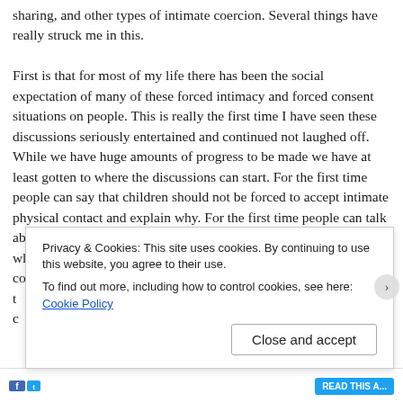sharing, and other types of intimate coercion. Several things have really struck me in this.

First is that for most of my life there has been the social expectation of many of these forced intimacy and forced consent situations on people. This is really the first time I have seen these discussions seriously entertained and continued not laughed off. While we have huge amounts of progress to be made we have at least gotten to where the discussions can start. For the first time people can say that children should not be forced to accept intimate physical contact and explain why. For the first time people can talk about the difficulties of living in the world as society has built it when they have disabilities hat require assistance or design considerations. For the first t... c...
Privacy & Cookies: This site uses cookies. By continuing to use this website, you agree to their use.
To find out more, including how to control cookies, see here: Cookie Policy
Close and accept